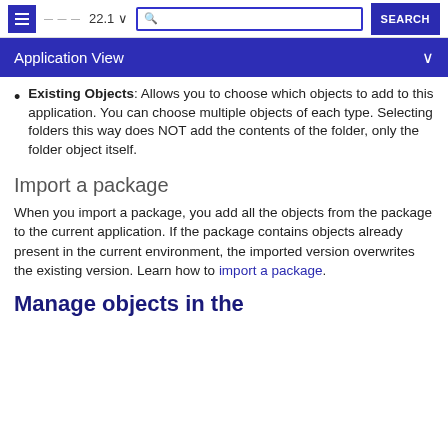22.1 — Application View — SEARCH
Application View
Existing Objects: Allows you to choose which objects to add to this application. You can choose multiple objects of each type. Selecting folders this way does NOT add the contents of the folder, only the folder object itself.
Import a package
When you import a package, you add all the objects from the package to the current application. If the package contains objects already present in the current environment, the imported version overwrites the existing version. Learn how to import a package.
Manage objects in the